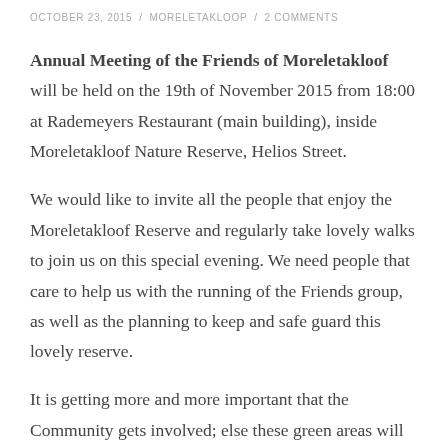OCTOBER 23, 2015 / MORELETAKLOOP / 2 COMMENTS
Annual Meeting of the Friends of Moreletakloof will be held on the 19th of November 2015 from 18:00 at Rademeyers Restaurant (main building), inside Moreletakloof Nature Reserve, Helios Street.
We would like to invite all the people that enjoy the Moreletakloof Reserve and regularly take lovely walks to join us on this special evening. We need people that care to help us with the running of the Friends group, as well as the planning to keep and safe guard this lovely reserve.
It is getting more and more important that the Community gets involved; else these green areas will become more threatened and unsafe and will be